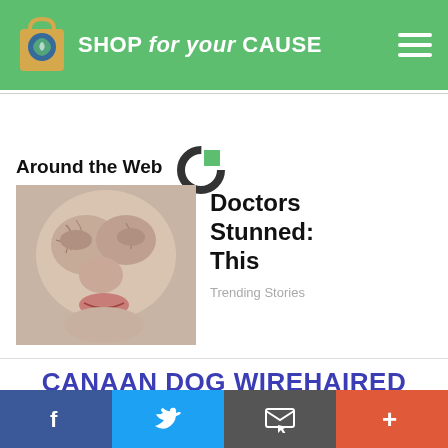SHOP for your CAUSE
Around the Web
[Figure (photo): Close-up photo of an elderly person's face showing wrinkled skin]
Doctors Stunned: This
Trending Stories
CANAAN DOG WIREHAIRED POINTING GRIFFON MIX HISTOR
f  Twitter  Email  +